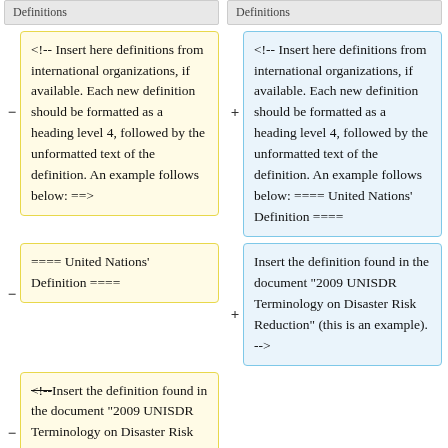Definitions
Definitions
<!-- Insert here definitions from international organizations, if available. Each new definition should be formatted as a heading level 4, followed by the unformatted text of the definition. An example follows below: ==>
<!-- Insert here definitions from international organizations, if available. Each new definition should be formatted as a heading level 4, followed by the unformatted text of the definition. An example follows below: ==== United Nations' Definition ====
==== United Nations' Definition ====
Insert the definition found in the document "2009 UNISDR Terminology on Disaster Risk Reduction" (this is an example). -->
<!--Insert the definition found in the document "2009 UNISDR Terminology on Disaster Risk Reduction" (this is an example).